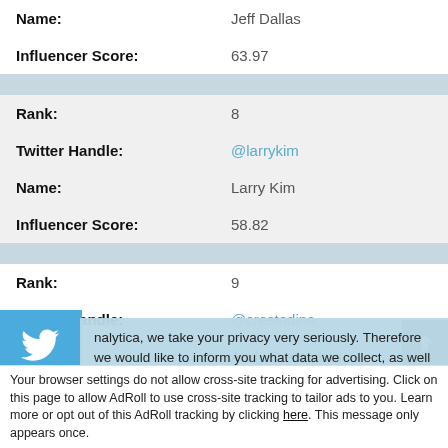| Name: | Jeff Dallas |
| Influencer Score: | 63.97 |
| Rank: | 8 |
| Twitter Handle: | @larrykim |
| Name: | Larry Kim |
| Influencer Score: | 58.82 |
| Rank: | 9 |
| Twitter Handle: | @crestodina |
| Name: | Andy Crestodina |
nalytica, we take your privacy very seriously. Therefore we would like to inform you what data we collect, as well as when and how we deal with personal information. To learn more, read our Privacy and Cookie Policy. If you have any questions, don't hesitate to contact us.
Accept and Close ✕
Your browser settings do not allow cross-site tracking for advertising. Click on this page to allow AdRoll to use cross-site tracking to tailor ads to you. Learn more or opt out of this AdRoll tracking by clicking here. This message only appears once.